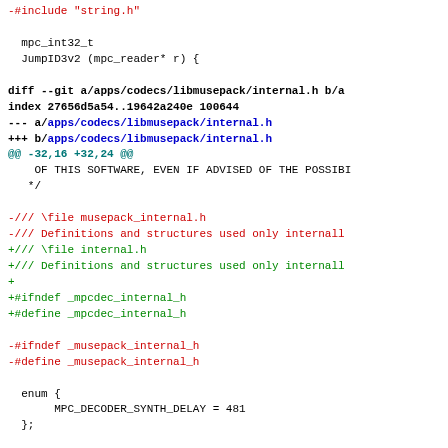-#include "string.h"

 mpc_int32_t
 JumpID3v2 (mpc_reader* r) {

diff --git a/apps/codecs/libmusepack/internal.h b/a
index 27656d5a54..19642a240e 100644
--- a/apps/codecs/libmusepack/internal.h
+++ b/apps/codecs/libmusepack/internal.h
@@ -32,16 +32,24 @@
    OF THIS SOFTWARE, EVEN IF ADVISED OF THE POSSIBI
 */

-/// \file musepack_internal.h
-/// Definitions and structures used only internall
+/// \file internal.h
+/// Definitions and structures used only internall
+
+#ifndef _mpcdec_internal_h
+#define _mpcdec_internal_h

-#ifndef _musepack_internal_h
-#define _musepack_internal_h

 enum {
      MPC_DECODER_SYNTH_DELAY = 481
 };

+/// Big/little endian 32 bit byte swapping routine
+static __inline
+mpc_uint32_t mpc_swap32(mpc_uint32_t val) {